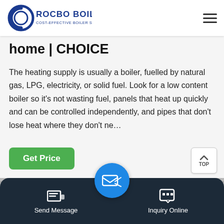ROCBO BOILER - COST-EFFECTIVE BOILER SUPPLIER
home | CHOICE
The heating supply is usually a boiler, fuelled by natural gas, LPG, electricity, or solid fuel. Look for a low content boiler so it's not wasting fuel, panels that heat up quickly and can be controlled independently, and pipes that don't lose heat where they don't ne…
Get Price
[Figure (photo): Industrial boiler room with large metal pipes, insulated ducts, red pipework, and yellow gas pipes visible in a factory setting]
Send Message | Inquiry Online